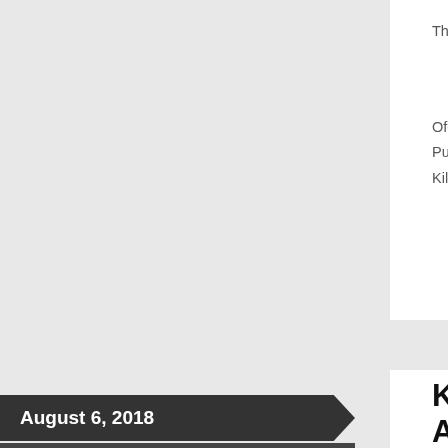The names of the suspects will not be re...
Ofelia Miramontez
Public Affairs
Killeen Police Department
August 6, 2018
by crimestoppers
in Uncategorized
KPD Investigates... Alan Kent
On Saturday, August 4, 2018, at approxi... dispatched to the 4500 block of Alan Ke... about shots fired. Upon the officers' arri... from a gunshot wound. Officers immedia... measures until paramedics arrived. The... to the Carl R. Darnall Army Medical Cen...
The 33 year-old male victim, Cleveland J...